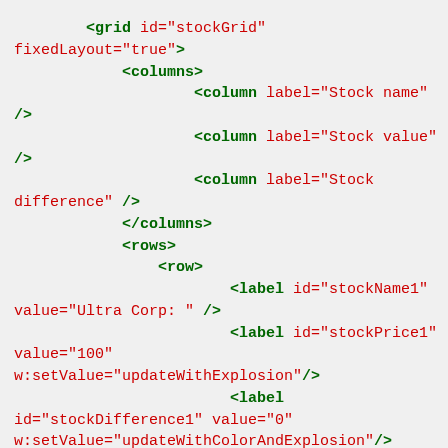<grid id="stockGrid" fixedLayout="true"> <columns> <column label="Stock name" /> <column label="Stock value" /> <column label="Stock difference" /> </columns> <rows> <row> <label id="stockName1" value="Ultra Corp: " /> <label id="stockPrice1" value="100" w:setValue="updateWithExplosion"/> <label id="stockDifference1" value="0" w:setValue="updateWithColorAndExplosion"/> </row>